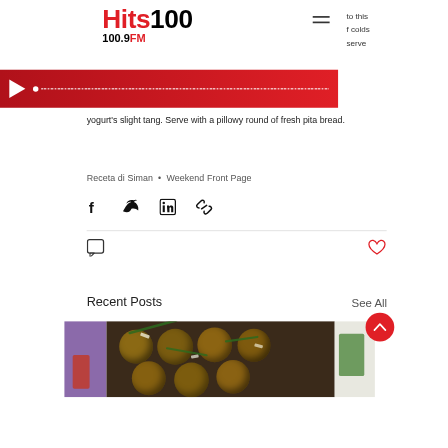Hits 100 100.9FM
[Figure (screenshot): Audio player bar with play button and progress line on red background]
yogurt's slight tang. Serve with a pillowy round of fresh pita bread.
Receta di Siman  •  Weekend Front Page
[Figure (other): Social share icons: Facebook, Twitter, LinkedIn, link]
[Figure (other): Comment icon (left) and heart/like icon (right)]
Recent Posts
See All
[Figure (photo): Food photo showing meatballs in a pan with green herbs and parmesan cheese, with partial images on either side]